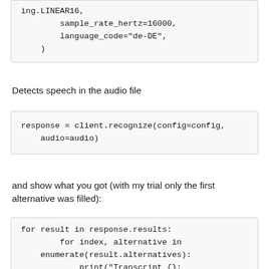ing.LINEAR16,
        sample_rate_hertz=16000,
        language_code="de-DE",
    )
Detects speech in the audio file
response = client.recognize(config=config,
    audio=audio)
and show what you got (with my trial only the first alternative was filled):
for result in response.results:
        for index, alternative in
    enumerate(result.alternatives):
            print("Transcript {}: